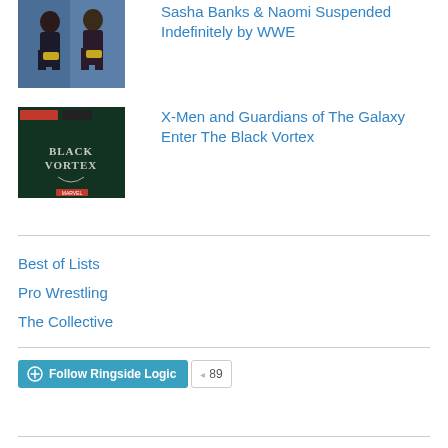[Figure (photo): Two women wrestlers holding championship belts against a blue background]
Sasha Banks & Naomi Suspended Indefinitely by WWE
[Figure (photo): Dark green promotional poster with text 'Black Vortex' in stylized lettering, Marvel and X-Men branding]
X-Men and Guardians of The Galaxy Enter The Black Vortex
Best of Lists
Pro Wrestling
The Collective
Follow Ringside Logic  89